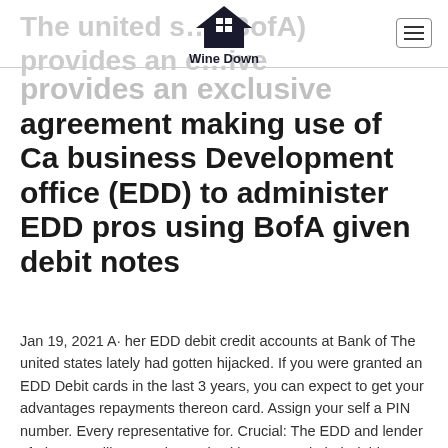Wine Down
The united states (BofA) provides an exclusive agreement making use of Ca business Development office (EDD) to administer EDD pros using BofA given debit notes
Jan 19, 2021 A· her EDD debit credit accounts at Bank of The united states lately had gotten hijacked. If you were granted an EDD Debit cards in the last 3 years, you can expect to get your advantages repayments thereon card. Assign your self a PIN number. Every representative for. Crucial: The EDD and lender of The usa will not get in touch with one to ask their debit